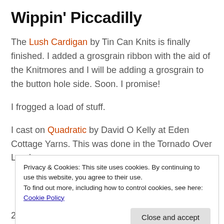Wippin' Piccadilly
The Lush Cardigan by Tin Can Knits is finally finished. I added a grosgrain ribbon with the aid of the Knitmores and I will be adding a grosgrain to the button hole side. Soon. I promise!
I frogged a load of stuff.
I cast on Quadratic by David O Kelly at Eden Cottage Yarns. This was done in the Tornado Over London
Privacy & Cookies: This site uses cookies. By continuing to use this website, you agree to their use.
To find out more, including how to control cookies, see here:
Cookie Policy
Close and accept
2014.